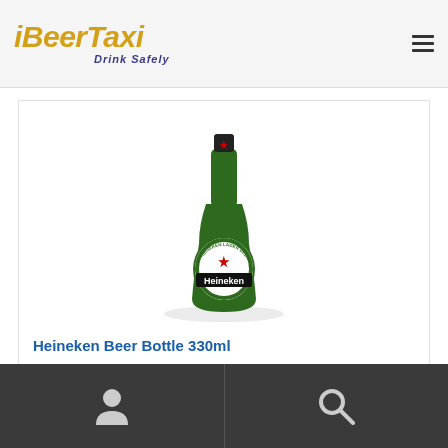iBeerTaxi — Drink Safely
[Figure (photo): Heineken Beer Bottle 330ml — a green glass beer bottle with Heineken label showing a red star and 'PREMIUM QUALITY' text]
Heineken Beer Bottle 330ml
User icon | Search icon